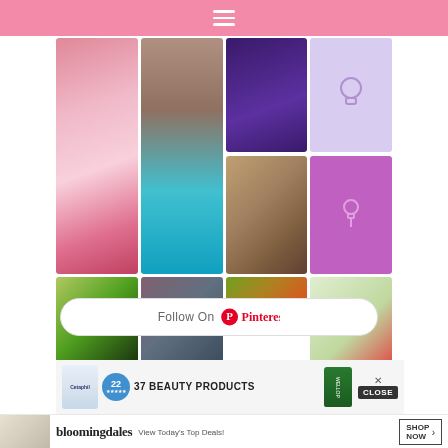[Figure (screenshot): Website screenshot showing a pink navigation header bar with hamburger menu icon]
[Figure (photo): Pinterest image grid showing pink hair, purple card, lightbulb outline, teal ombre hair, braided hair with scarf, purple poster, salad, woman in crowd, fruit mix, and salad cups photos]
Follow On Pinterest
[Figure (screenshot): Advertisement area showing beauty products ad with 22 reviews badge, green WELLOP product, CLOSE button, and Bloomingdale's banner ad]
37 BEAUTY PRODUCTS
bloomingdales
View Today's Top Deals!
SHOP NOW >